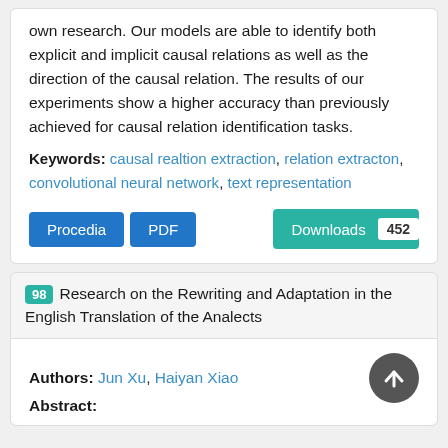own research. Our models are able to identify both explicit and implicit causal relations as well as the direction of the causal relation. The results of our experiments show a higher accuracy than previously achieved for causal relation identification tasks.
Keywords: causal realtion extraction, relation extracton, convolutional neural network, text representation
Procedia  PDF  Downloads 452
98 Research on the Rewriting and Adaptation in the English Translation of the Analects
Authors: Jun Xu, Haiyan Xiao
Abstract: